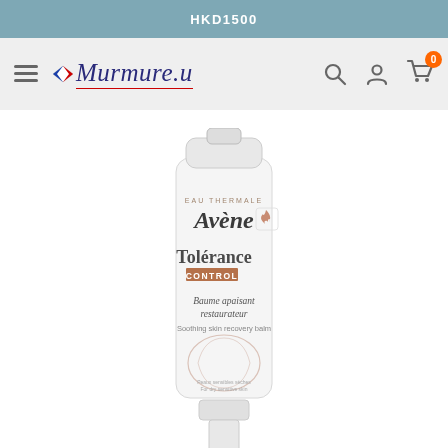HKD1500
[Figure (logo): Murmure.u website navigation bar with hamburger menu, logo, search icon, account icon, and cart icon showing 0 items]
[Figure (photo): Avène Tolérance CONTROL Baume apaisant restaurateur / Soothing skin recovery balm product tube and its packaging, white tube with rose/terracotta branding elements, partially cropped at bottom]